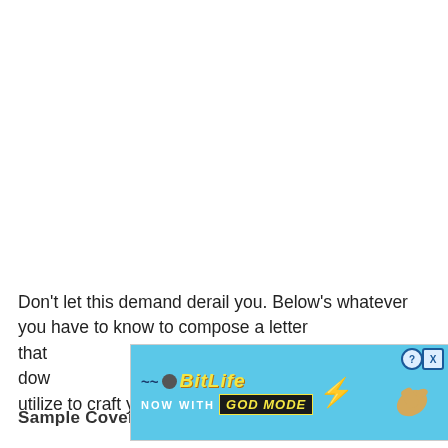Don't let this demand derail you. Below's whatever you have to know to compose a letter that [ad overlay] will dow[n] utilize to craft your very own.
[Figure (screenshot): BitLife mobile game advertisement banner. Blue background with 'BitLife NOW WITH GOD MODE' text and cartoon hand pointing graphic. Has close (X) and help (?) buttons.]
Sample Cover Letter